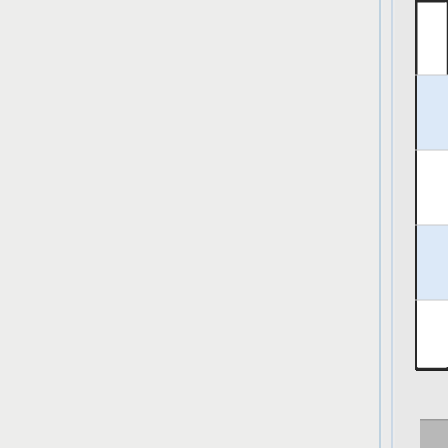[Figure (screenshot): Screenshot of a software application (likely a digital preservation or file management tool) showing a workflow/task list. Visible items include: 'Create SIP(s', 'Check transfe', 'Move to comp', 'Set file permi', 'Characterize', 'Sanitize Tran', 'Sanitize' with a tooltip/popup box showing task details including 'Cata', 'Task', 'File', 'Clie', '(ex', 'Sho' (Show link in blue), and a white box. Green checkmark icons appear next to several rows. The interface has alternating white and light blue row backgrounds, a grey left panel, a blue vertical guide line, and grey bar chart-like columns in the lower right portion.]